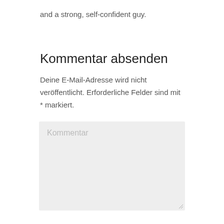and a strong, self-confident guy.
Kommentar absenden
Deine E-Mail-Adresse wird nicht veröffentlicht. Erforderliche Felder sind mit * markiert.
[Figure (screenshot): A text area input field with placeholder text 'Kommentar' on a light grey background with a resize handle in the bottom-right corner.]